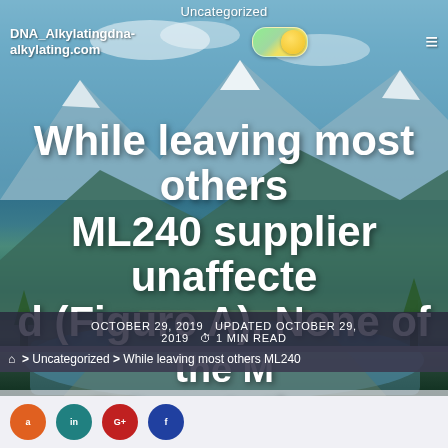Uncategorized
DNA_Alkylatingdna-alkylating.com
While leaving most others ML240 supplier unaffected (Figure A). None of the MDS mutations changed interactions
OCTOBER 29, 2019  UPDATED OCTOBER 29, 2019  1 MIN READ
> Uncategorized > While leaving most others ML240